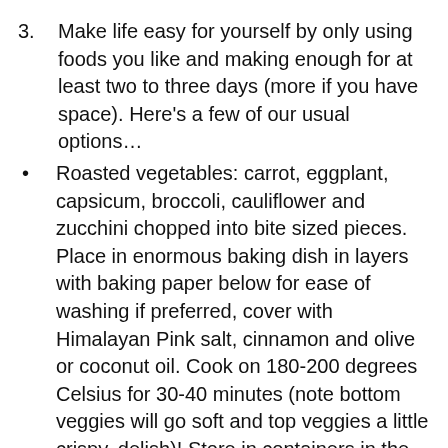3. Make life easy for yourself by only using foods you like and making enough for at least two to three days (more if you have space). Here's a few of our usual options…
• Roasted vegetables: carrot, eggplant, capsicum, broccoli, cauliflower and zucchini chopped into bite sized pieces. Place in enormous baking dish in layers with baking paper below for ease of washing if preferred, cover with Himalayan Pink salt, cinnamon and olive or coconut oil. Cook on 180-200 degrees Celsius for 30-40 minutes (note bottom veggies will go soft and top veggies a little crispy, delish)! Store in containers in the